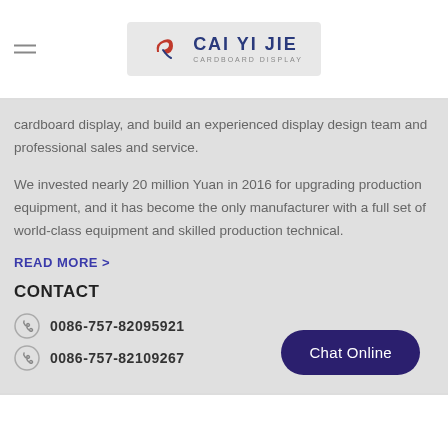CAI YI JIE CARDBOARD DISPLAY
cardboard display, and build an experienced display design team and professional sales and service.
We invested nearly 20 million Yuan in 2016 for upgrading production equipment, and it has become the only manufacturer with a full set of world-class equipment and skilled production technical.
READ MORE >
CONTACT
0086-757-82095921
0086-757-82109267
Chat Online